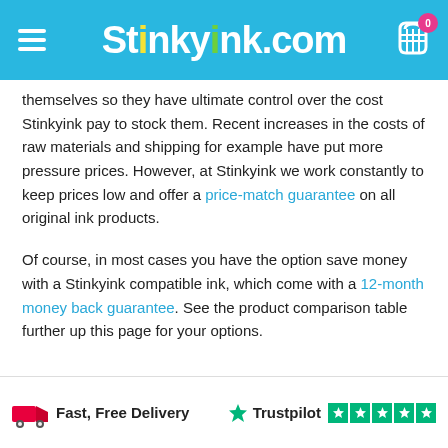Stinkyink.com
themselves so they have ultimate control over the cost Stinkyink pay to stock them. Recent increases in the costs of raw materials and shipping for example have put more pressure prices. However, at Stinkyink we work constantly to keep prices low and offer a price-match guarantee on all original ink products.
Of course, in most cases you have the option save money with a Stinkyink compatible ink, which come with a 12-month money back guarantee. See the product comparison table further up this page for your options.
Fast, Free Delivery  Trustpilot